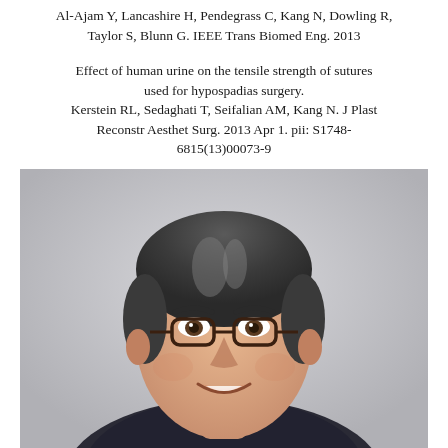Al-Ajam Y, Lancashire H, Pendegrass C, Kang N, Dowling R, Taylor S, Blunn G. IEEE Trans Biomed Eng. 2013
Effect of human urine on the tensile strength of sutures used for hypospadias surgery. Kerstein RL, Sedaghati T, Seifalian AM, Kang N. J Plast Reconstr Aesthet Surg. 2013 Apr 1. pii: S1748-6815(13)00073-9
[Figure (photo): Professional headshot photograph of a middle-aged man with dark hair with some grey, glasses with dark frames, wearing a dark suit, smiling, on a light grey background]